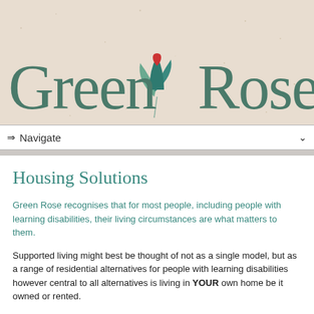[Figure (logo): Green Rose logo with tulip/leaf SVG emblem and text 'Green Rose' in dark teal serif font on a beige textured background]
⇒ Navigate
Housing Solutions
Green Rose recognises that for most people, including people with learning disabilities, their living circumstances are what matters to them.
Supported living might best be thought of not as a single model, but as a range of residential alternatives for people with learning disabilities however central to all alternatives is living in YOUR own home be it owned or rented.